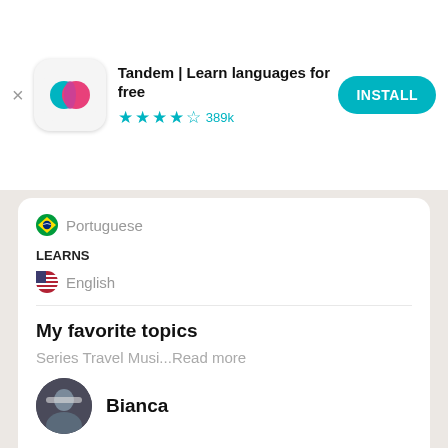[Figure (logo): Tandem app icon with teal and pink overlapping speech bubbles on white rounded square background]
Tandem | Learn languages for free
★★★★☆ 389k
[Figure (screenshot): INSTALL button in teal rounded pill]
🇧🇷 Portuguese
LEARNS
🇺🇸 English
My favorite topics
Series Travel Musi...Read more
Get the app
Bianca